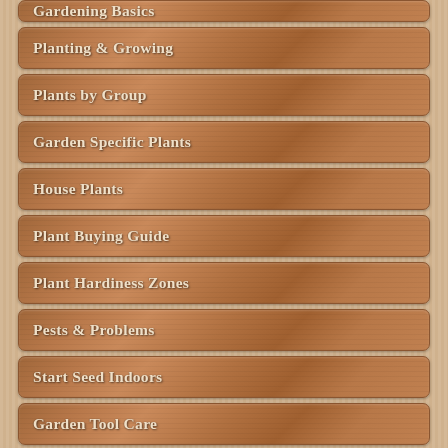Gardening Basics
Planting & Growing
Plants by Group
Garden Specific Plants
House Plants
Plant Buying Guide
Plant Hardiness Zones
Pests & Problems
Start Seed Indoors
Garden Tool Care
Garden Glossary